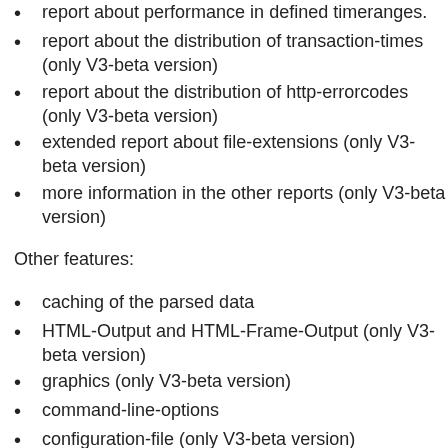report about performance in defined timeranges.
report about the distribution of transaction-times (only V3-beta version)
report about the distribution of http-errorcodes (only V3-beta version)
extended report about file-extensions (only V3-beta version)
more information in the other reports (only V3-beta version)
Other features:
caching of the parsed data
HTML-Output and HTML-Frame-Output (only V3-beta version)
graphics (only V3-beta version)
command-line-options
configuration-file (only V3-beta version)